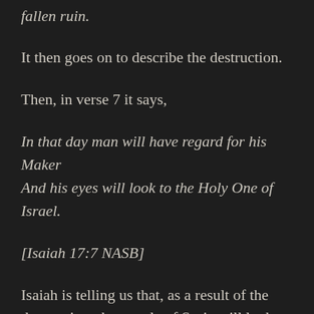fallen ruin.
It then goes on to describe the destruction.
Then, in verse 7 it says,
In that day man will have regard for his Maker And his eyes will look to the Holy One of Israel.
[Isaiah 17:7 NASB]
Isaiah is telling us that, as a result of the destruction, the people of Syria will look to God for salvation. I don't know that Syria turned to God after the Assyrian invasion in